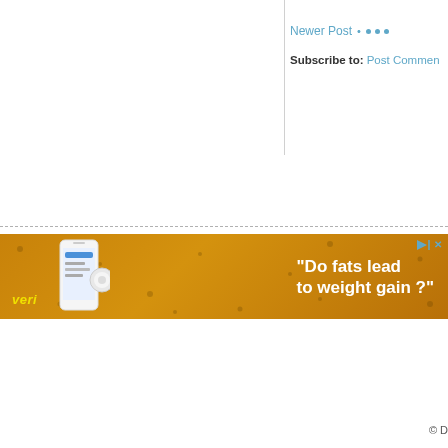Newer Post · · · ·
Subscribe to: Post Comments
[Figure (screenshot): Veri brand advertisement banner with orange/golden background showing a smartphone and circular device, with text 'Do fats lead to weight gain?' in white bold font, and 'veri' logo in yellow italic text on the left.]
© D